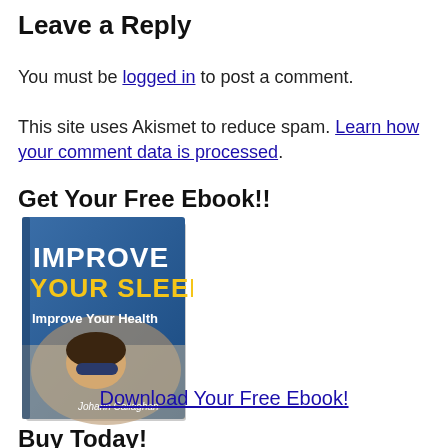Leave a Reply
You must be logged in to post a comment.
This site uses Akismet to reduce spam. Learn how your comment data is processed.
Get Your Free Ebook!!
[Figure (illustration): Book cover for 'Improve Your Sleep - Improve Your Health' by Johann Callaghan, showing a person sleeping with a blue cover and yellow/white title text.]
Download Your Free Ebook!
Buy Today!